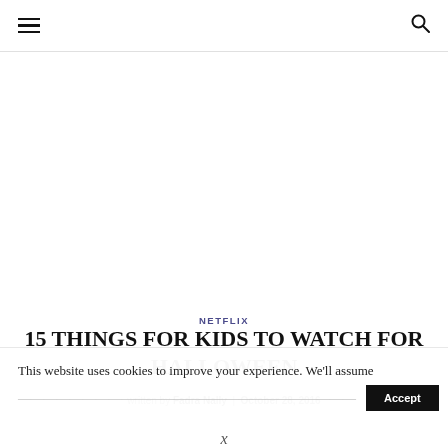Navigation header with hamburger menu and search icon
NETFLIX
15 THINGS FOR KIDS TO WATCH FOR HALLOWEEN
written by Fadra Nally | October 28, 2016
This website uses cookies to improve your experience. We'll assume
X